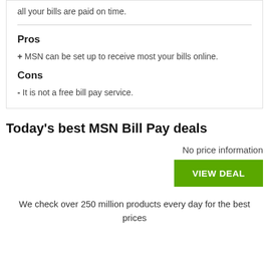all your bills are paid on time.
Pros
+ MSN can be set up to receive most your bills online.
Cons
- It is not a free bill pay service.
Today's best MSN Bill Pay deals
No price information
VIEW DEAL
We check over 250 million products every day for the best prices